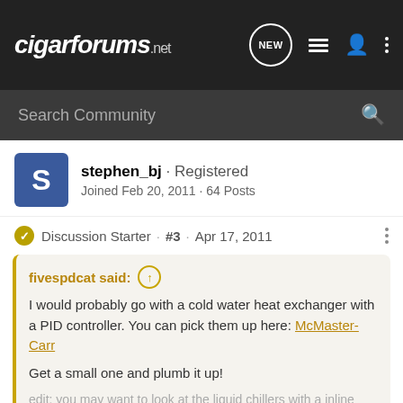cigarforums.net
Search Community
stephen_bj · Registered
Joined Feb 20, 2011 · 64 Posts
Discussion Starter · #3 · Apr 17, 2011
fivespdcat said: ↑
I would probably go with a cold water heat exchanger with a PID controller. You can pick them up here: McMaster-Carr

Get a small one and plumb it up!

edit: you may want to look at the liquid chillers with a inline control valve to control the temperature. It would end up being cheaper and
Click to expand...
Hi fivespdcat,